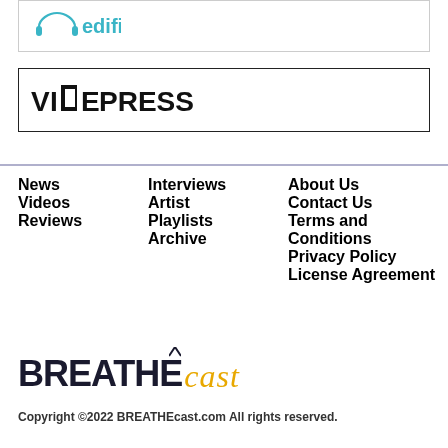[Figure (logo): edifi logo with headphones icon and teal/blue text]
[Figure (logo): VidePress logo in bold black text with stylized V]
News
Videos
Reviews
Interviews
Artist
Playlists
Archive
About Us
Contact Us
Terms and Conditions
Privacy Policy
License Agreement
[Figure (logo): BREATHEcast logo with bold dark text BREATHE and italic gold/yellow script 'cast']
Copyright ©2022 BREATHEcast.com All rights reserved.